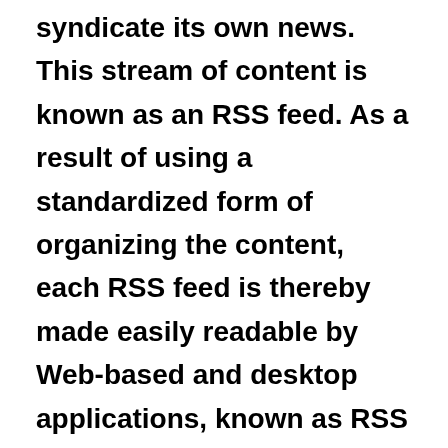syndicate its own news. This stream of content is known as an RSS feed. As a result of using a standardized form of organizing the content, each RSS feed is thereby made easily readable by Web-based and desktop applications, known as RSS readers or aggregators. Google Reader and BlogBridge are examples of each category, respectively. All newsreaders, including these two, allow